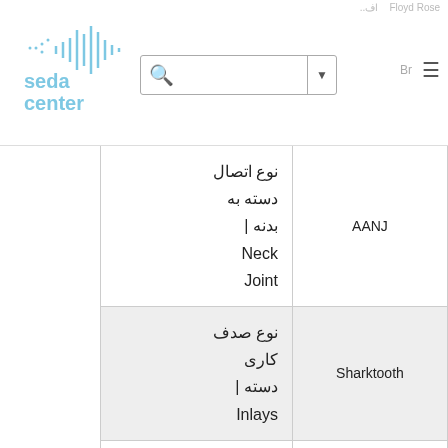Floyd Rose | اف... | Br | seda center
|  | نوع اتصال دسته به بدنه | Neck Joint |
| --- | --- |
| AANJ | نوع اتصال دسته به بدنه | Neck Joint |
| Sharktooth | نوع صدف کاری دسته | Inlays |
| Wizard II | شکل ... | Neck |